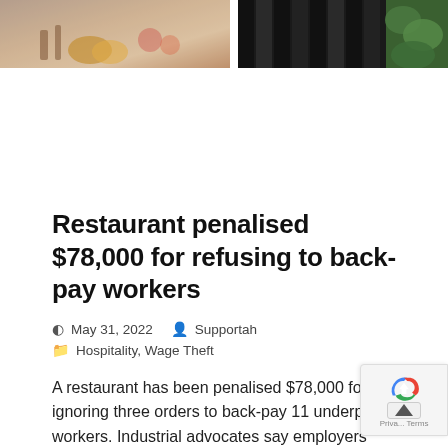[Figure (photo): Two cropped photos side by side at top: left shows food/restaurant items with warm earthy tones, right shows dark vertical bars (piano keys or similar) with green foliage at far right]
Restaurant penalised $78,000 for refusing to back-pay workers
May 31, 2022   Supportah   Hospitality, Wage Theft
A restaurant has been penalised $78,000 for ignoring three orders to back-pay 11 underp workers. Industrial advocates say employers